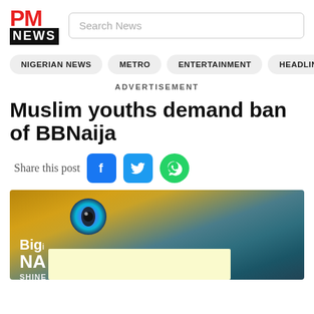[Figure (logo): PM News logo with red PM text and black NEWS bar]
Search News
NIGERIAN NEWS  METRO  ENTERTAINMENT  HEADLIN
ADVERTISEMENT
Muslim youths demand ban of BBNaija
Share this post
[Figure (photo): BBNaija show image with golden eye logo, yellow redacted overlay, text: Bigi, NA, SHINE YA EYE]